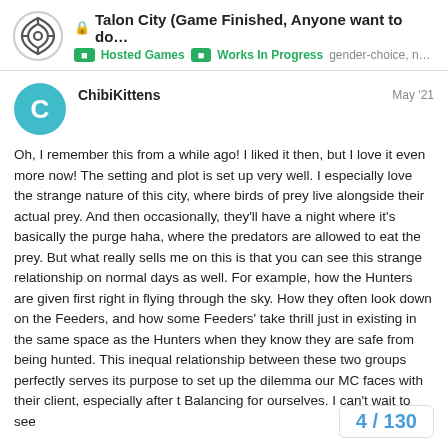Talon City (Game Finished, Anyone want to do... | Hosted Games | Works In Progress | gender-choice, n...
ChibiKittens — May '21
Oh, I remember this from a while ago! I liked it then, but I love it even more now! The setting and plot is set up very well. I especially love the strange nature of this city, where birds of prey live alongside their actual prey. And then occasionally, they'll have a night where it's basically the purge haha, where the predators are allowed to eat the prey. But what really sells me on this is that you can see this strange relationship on normal days as well. For example, how the Hunters are given first right in flying through the sky. How they often look down on the Feeders, and how some Feeders' take thrill just in existing in the same space as the Hunters when they know they are safe from being hunted. This inequal relationship between these two groups perfectly serves its purpose to set up the dilemma our MC faces with their client, especially after the Balancing for ourselves. I can't wait to see
4 / 130